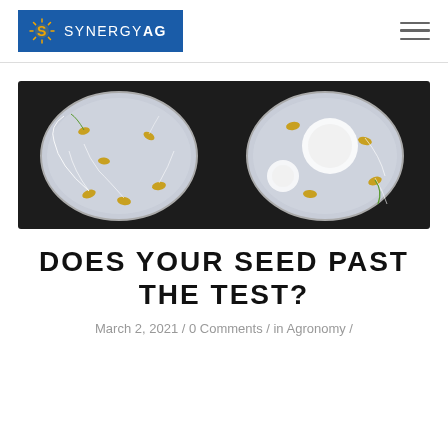[Figure (logo): Synergy AG logo — blue rectangle background with white sun-like S icon and white text SYNERGY AG]
[Figure (photo): Two petri dishes on a dark background showing germinating seeds with roots and some mold/fungus growth. Left dish shows healthy sprouts; right dish shows seeds with mold colonies.]
DOES YOUR SEED PAST THE TEST?
March 2, 2021 / 0 Comments / in Agronomy /